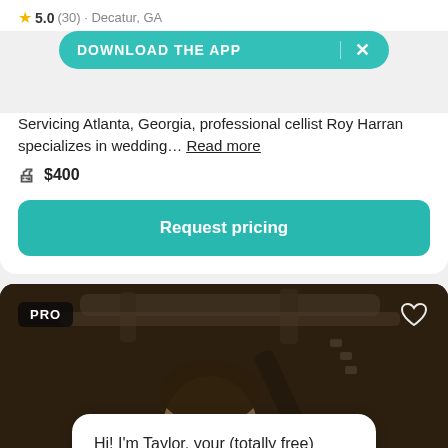5.0 (30) · Decatur, GA
[Figure (screenshot): Download the App banner overlay with teal pill-shaped button and X close button]
Servicing Atlanta, Georgia, professional cellist Roy Harran specializes in wedding… Read more
$400
Request pricing
[Figure (photo): Young male guitarist photographed in dim studio setting with PRO badge top-left and heart icon top-right]
Hi! I'm Taylor, your (totally free) virtual wedding planning assistant. Would you like help finding vendo…